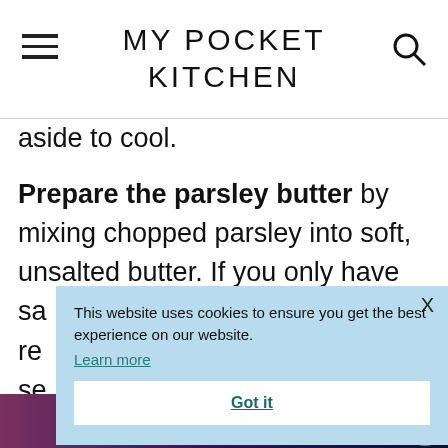MY POCKET KITCHEN
aside to cool.
Prepare the parsley butter by mixing chopped parsley into soft, unsalted butter. If you only have sa... re... se... ru...
This website uses cookies to ensure you get the best experience on our website. Learn more Got it